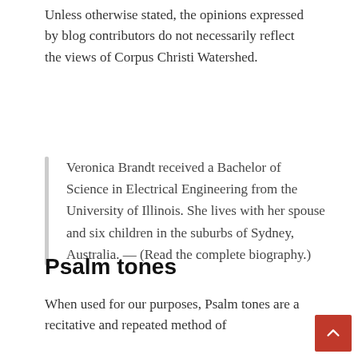Unless otherwise stated, the opinions expressed by blog contributors do not necessarily reflect the views of Corpus Christi Watershed.
Veronica Brandt received a Bachelor of Science in Electrical Engineering from the University of Illinois. She lives with her spouse and six children in the suburbs of Sydney, Australia. — (Read the complete biography.)
Psalm tones
When used for our purposes, Psalm tones are a recitative and repeated method of chanting that the…